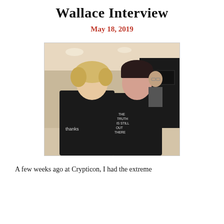Wallace Interview
May 18, 2019
[Figure (photo): Two women smiling together at what appears to be a convention (Crypticon). The woman on the left has short blonde hair and is wearing a black shirt reading 'thanks'. The woman on the right has dark hair with bangs and is wearing a black shirt reading 'THE TRUTH IS STILL OUT THERE'. A man with glasses is visible in the background along with convention booths including a 'Vinegar Syndrome' sign.]
A few weeks ago at Crypticon, I had the extreme